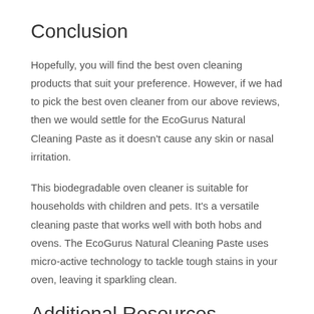Conclusion
Hopefully, you will find the best oven cleaning products that suit your preference. However, if we had to pick the best oven cleaner from our above reviews, then we would settle for the EcoGurus Natural Cleaning Paste as it doesn’t cause any skin or nasal irritation.
This biodegradable oven cleaner is suitable for households with children and pets. It’s a versatile cleaning paste that works well with both hobs and ovens. The EcoGurus Natural Cleaning Paste uses micro-active technology to tackle tough stains in your oven, leaving it sparkling clean.
Additional Resources